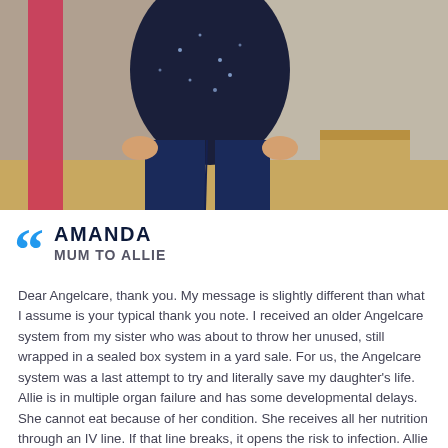[Figure (photo): Photo of a child wearing a dark navy blue sparkly top and jeans, standing indoors with a pinkish-red fabric visible to the left and a concrete wall background]
AMANDA
MUM TO ALLIE
Dear Angelcare, thank you. My message is slightly different than what I assume is your typical thank you note. I received an older Angelcare system from my sister who was about to throw her unused, still wrapped in a sealed box system in a yard sale. For us, the Angelcare system was a last attempt to try and literally save my daughter's life. Allie is in multiple organ failure and has some developmental delays. She cannot eat because of her condition. She receives all her nutrition through an IV line. If that line breaks, it opens the risk to infection. Allie has had several infections, some very serious and have taken her to death's door. In recent months, Allie has broken the line several times. Her dad and I were at our